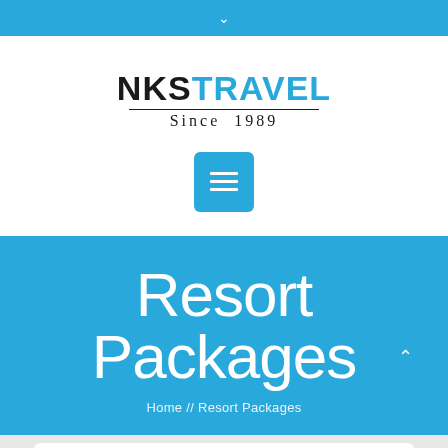NKS TRAVEL Since 1989
[Figure (screenshot): Blue hamburger menu button (three horizontal white lines on blue rounded square background)]
Resort Packages
Home // Resort Packages